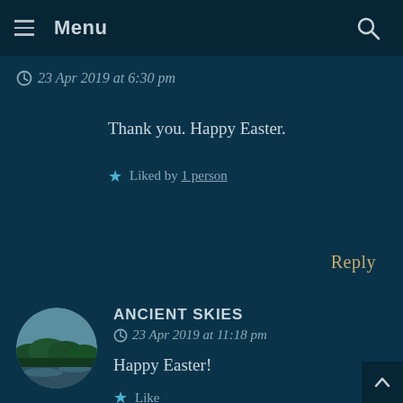Menu
23 Apr 2019 at 6:30 pm
Thank you. Happy Easter.
Liked by 1 person
Reply
ANCIENT SKIES
23 Apr 2019 at 11:18 pm
Happy Easter!
Like